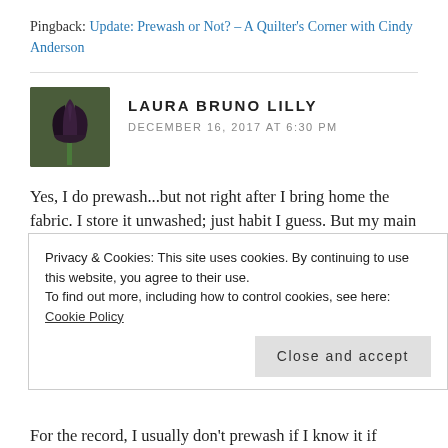Pingback: Update: Prewash or Not? – A Quilter's Corner with Cindy Anderson
LAURA BRUNO LILLY
DECEMBER 16, 2017 AT 6:30 PM
[Figure (photo): Avatar photo of a dark purple/black tulip flower bud against a green background]
Yes, I do prewash...but not right after I bring home the fabric. I store it unwashed; just habit I guess. But my main reason for prewashing (besides lessons learned with fabric AND thread bleeding long ago) is to get rid of the added sizing that is often on the
Privacy & Cookies: This site uses cookies. By continuing to use this website, you agree to their use.
To find out more, including how to control cookies, see here: Cookie Policy
Close and accept
For the record, I usually don't prewash if I know it if